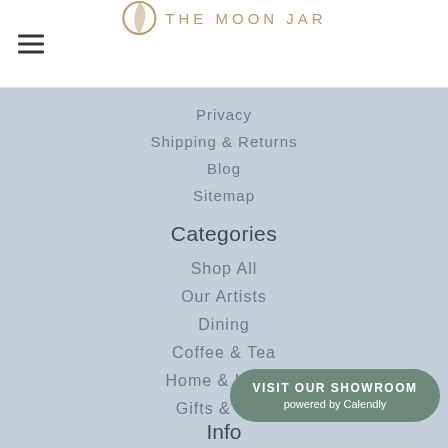THE MOON JAR
Privacy
Shipping & Returns
Blog
Sitemap
Categories
Shop All
Our Artists
Dining
Coffee & Tea
Home & Living
Gifts & Sets
VISIT OUR SHOWROOM
powered by Calendly
Info